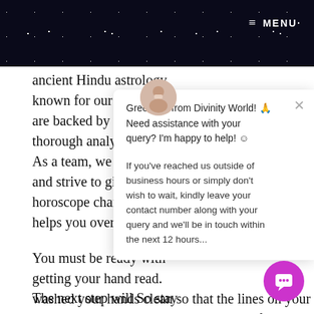MENU
ancient Hindu astrology known for our scientific are backed by years of d thorough analysis and v As a team, we personali and strive to give you a horoscope chart after a helps you overcome all
You must be ready with getting your hand read. washed your hands clean so that the lines on your palms are visible, thus, making it easier for the hand readers to interpret your future easily.
Greetings from Divinity World! 🙏 Need assistance with your query? I'm happy to help! ☺
If you've reached us outside of business hours or simply don't wish to wait, kindly leave your contact number along with your query and we'll be in touch within the next 12 hours...
The next step will So stay